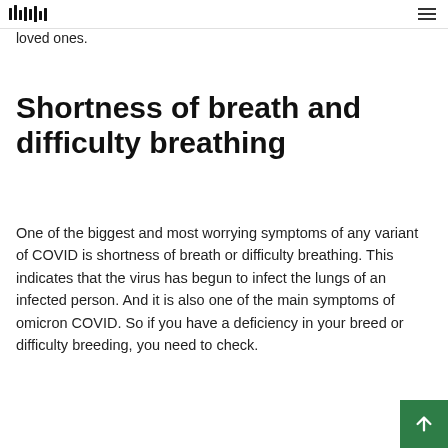[logo] [menu icon]
loved ones.
Shortness of breath and difficulty breathing
One of the biggest and most worrying symptoms of any variant of COVID is shortness of breath or difficulty breathing. This indicates that the virus has begun to infect the lungs of an infected person. And it is also one of the main symptoms of omicron COVID. So if you have a deficiency in your breed or difficulty breeding, you need to check.